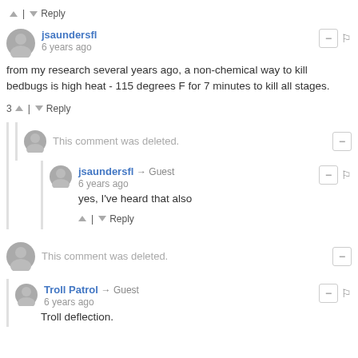^ | v Reply
jsaundersfl
6 years ago
from my research several years ago, a non-chemical way to kill bedbugs is high heat - 115 degrees F for 7 minutes to kill all stages.
3 ^ | v Reply
This comment was deleted.
jsaundersfl → Guest
6 years ago
yes, I've heard that also
^ | v Reply
This comment was deleted.
Troll Patrol → Guest
6 years ago
Troll deflection.